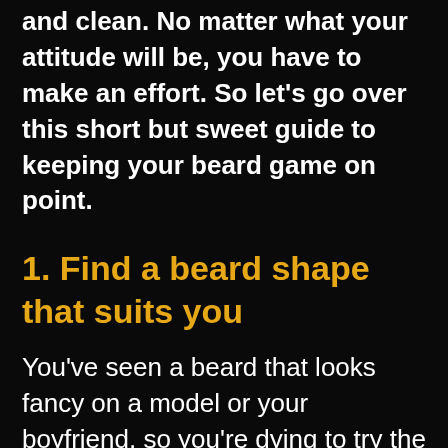and clean. No matter what your attitude will be, you have to make an effort. So let's go over this short but sweet guide to keeping your beard game on point.
1. Find a beard shape that suits you
You've seen a beard that looks fancy on a model or your boyfriend, so you're dying to try the beard shape yourself. However, if it looks good on someone else does not mean it will look good on you. Different types of beard and head